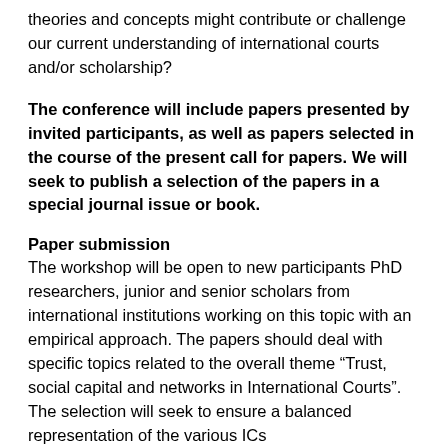theories and concepts might contribute or challenge our current understanding of international courts and/or scholarship?
The conference will include papers presented by invited participants, as well as papers selected in the course of the present call for papers. We will seek to publish a selection of the papers in a special journal issue or book.
Paper submission
The workshop will be open to new participants PhD researchers, junior and senior scholars from international institutions working on this topic with an empirical approach. The papers should deal with specific topics related to the overall theme “Trust, social capital and networks in International Courts”. The selection will seek to ensure a balanced representation of the various ICs